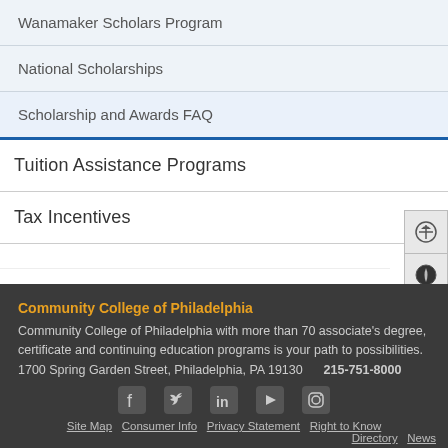Wanamaker Scholars Program
National Scholarships
Scholarship and Awards FAQ
Tuition Assistance Programs
Tax Incentives
Community College of Philadelphia
Community College of Philadelphia with more than 70 associate's degree, certificate and continuing education programs is your path to possibilities.
1700 Spring Garden Street, Philadelphia, PA 19130    215-751-8000
Site Map  Consumer Info  Privacy Statement  Right to Know  Directory  News